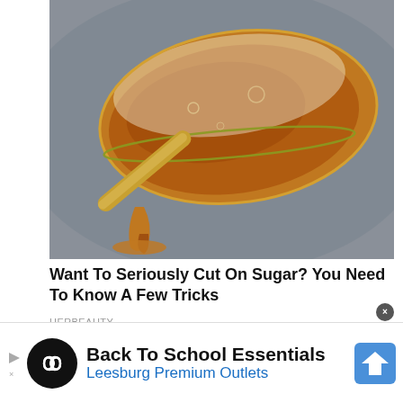[Figure (photo): Close-up macro photograph of a spoon overflowing with amber-colored liquid honey or syrup against a grey blurred background]
Want To Seriously Cut On Sugar? You Need To Know A Few Tricks
HERBEAUTY
[Figure (photo): Close-up photograph of fingers touching or pressing on a grey stone or concrete surface]
[Figure (infographic): Advertisement banner: Back To School Essentials - Leesburg Premium Outlets with logo and navigation icon]